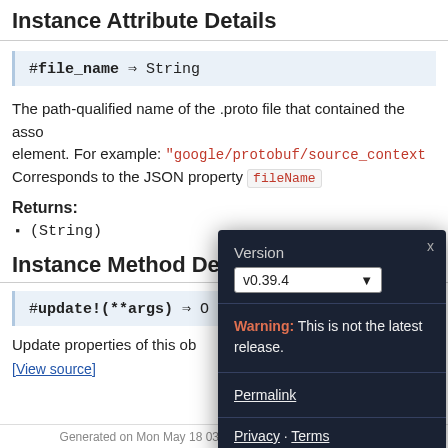Instance Attribute Details
The path-qualified name of the .proto file that contained the associated element. For example: "google/protobuf/source_context Corresponds to the JSON property fileName
Returns:
(String)
Instance Method Details
Update properties of this object
[View source]
[Figure (screenshot): Version selector popup with v0.39.4 dropdown, warning 'This is not the latest release.', Permalink, Privacy, Terms links on dark navy background]
Generated on Mon May 18 03.47.47 2020 by yard 0.9.25 (rub